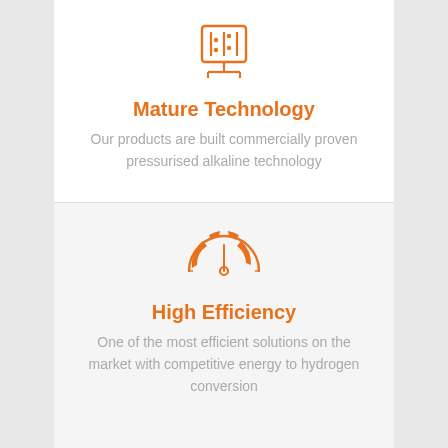[Figure (illustration): Orange line-art icon of a pressurised alkaline electrolysis cell (rectangular cell with bubbles and electrodes)]
Mature Technology
Our products are built commercially proven pressurised alkaline technology
[Figure (illustration): Orange line-art icon of a speedometer/gauge showing high efficiency]
High Efficiency
One of the most efficient solutions on the market with competitive energy to hydrogen conversion